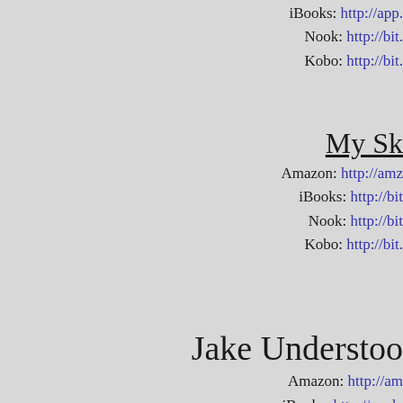iBooks: http://app…
Nook: http://bit.…
Kobo: http://bit.…
My Sk…
Amazon: http://amz…
iBooks: http://bit…
Nook: http://bit…
Kobo: http://bit.…
Jake Understoo…
Amazon: http://am…
iBooks: http://apple…
Nook: http://bit.…
Kobo: http://bit.…
Comi…